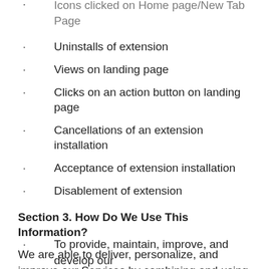Uninstalls of extension
Views on landing page
Clicks on an action button on landing page
Cancellations of an extension installation
Acceptance of extension installation
Disablement of extension
Section 3. How Do We Use This Information?
We are able to deliver, personalize, and improve our Services by combining and using the information that we have about you to understand how you use and interact with our Services. We also may use the information that we have about you for the following purposes:
To provide, maintain, improve, and develop our...